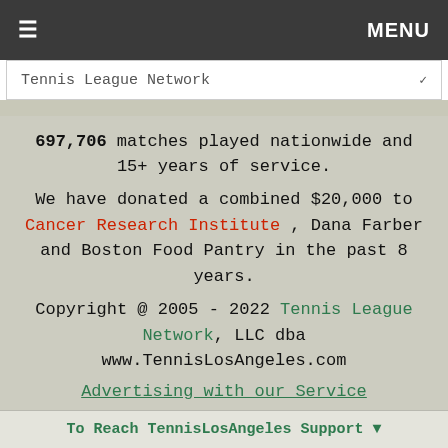≡  MENU
Tennis League Network  ✓
697,706 matches played nationwide and 15+ years of service.
We have donated a combined $20,000 to Cancer Research Institute , Dana Farber and Boston Food Pantry in the past 8 years.
Copyright @ 2005 - 2022 Tennis League Network, LLC dba www.TennisLosAngeles.com
Advertising with our Service
Privacy Policy | GDPR | Terms of Service | Copyright/IP/Policy
To Reach TennisLosAngeles Support ▼